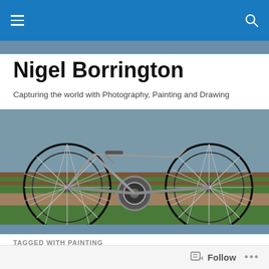Nigel Borrington
Capturing the world with Photography, Painting and Drawing
[Figure (photo): Close-up photograph of a bicycle showing both wheels, chain, gears and spokes, parked on a path next to grass]
TAGGED WITH PAINTING
An industrial landscape : Acrylic ink on Board